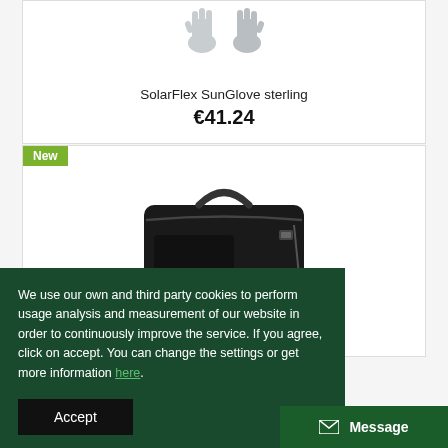[Figure (photo): SolarFlex SunGlove sterling product image - grey gloves shown from above]
SolarFlex SunGlove sterling
€41.24
[Figure (photo): Black Simms fishing tackle bag/case with handle and zipper, labeled New]
We use our own and third party cookies to perform usage analysis and measurement of our website in order to continuously improve the service. If you agree, click on accept. You can change the settings or get more information here.
Accept
Message